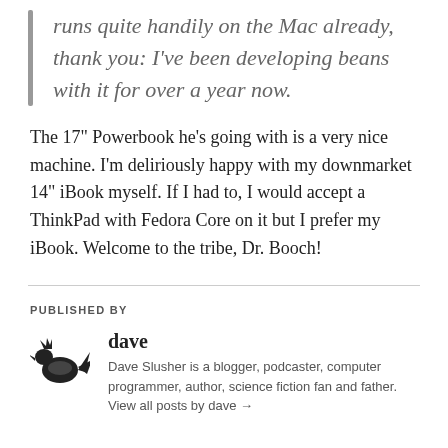runs quite handily on the Mac already, thank you: I've been developing beans with it for over a year now.
The 17" Powerbook he's going with is a very nice machine. I'm deliriously happy with my downmarket 14" iBook myself. If I had to, I would accept a ThinkPad with Fedora Core on it but I prefer my iBook. Welcome to the tribe, Dr. Booch!
PUBLISHED BY
dave
Dave Slusher is a blogger, podcaster, computer programmer, author, science fiction fan and father. View all posts by dave →